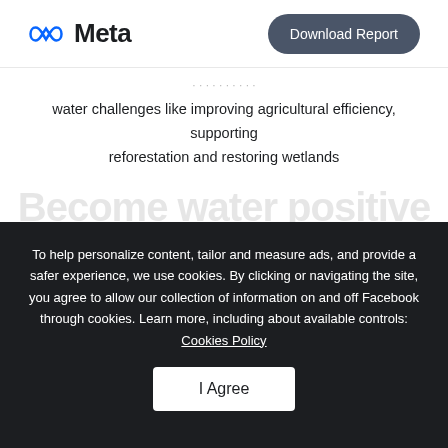Meta | Download Report
water challenges like improving agricultural efficiency, supporting reforestation and restoring wetlands
[Figure (other): Faded large watermark text reading 'Become water positive']
To help personalize content, tailor and measure ads, and provide a safer experience, we use cookies. By clicking or navigating the site, you agree to allow our collection of information on and off Facebook through cookies. Learn more, including about available controls: Cookies Policy
I Agree